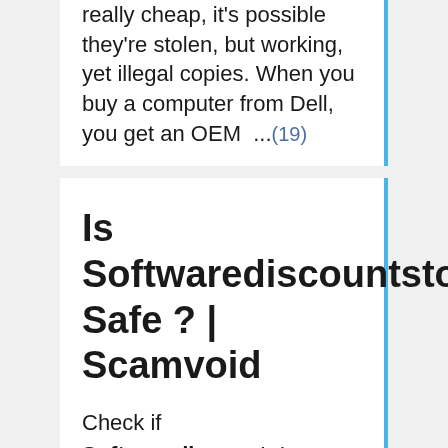really cheap, it's possible they're stolen, but working, yet illegal copies. When you buy a computer from Dell, you get an OEM ...(19)
Is Softwarediscountstore.com Safe ? | Scamvoid
Check if Softwarediscountstore.com is scam or legit. You made too many requests in 1 hour, we show captcha now: Show Report.(20)